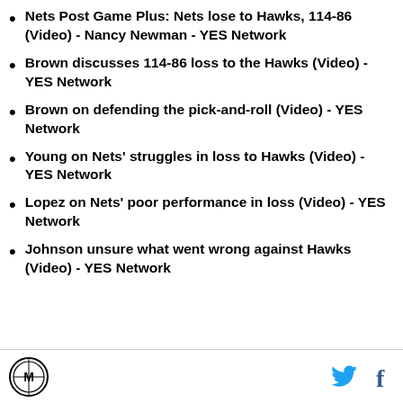Nets Post Game Plus: Nets lose to Hawks, 114-86 (Video) - Nancy Newman - YES Network
Brown discusses 114-86 loss to the Hawks (Video) - YES Network
Brown on defending the pick-and-roll (Video) - YES Network
Young on Nets' struggles in loss to Hawks (Video) - YES Network
Lopez on Nets' poor performance in loss (Video) - YES Network
Johnson unsure what went wrong against Hawks (Video) - YES Network
Logo | Twitter | Facebook